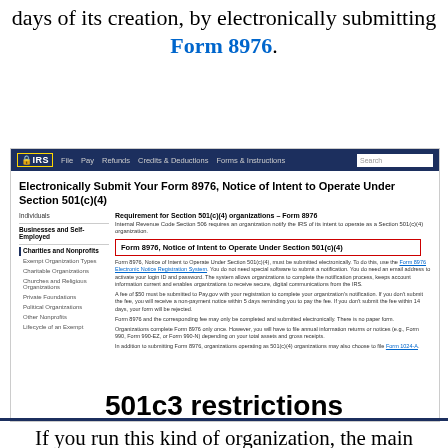days of its creation, by electronically submitting Form 8976.
[Figure (screenshot): IRS.gov webpage showing 'Electronically Submit Your Form 8976, Notice of Intent to Operate Under Section 501(c)(4)' with navigation sidebar and main content including a red-bordered box with 'Form 8976, Notice of Intent to Operate Under Section 501(c)(4)']
501c3 restrictions
If you run this kind of organization, the main